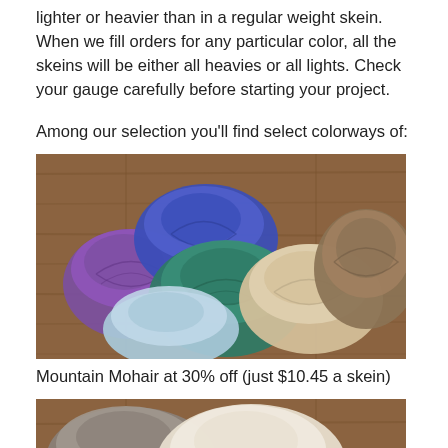lighter or heavier than in a regular weight skein. When we fill orders for any particular color, all the skeins will be either all heavies or all lights. Check your gauge carefully before starting your project.
Among our selection you'll find select colorways of:
[Figure (photo): Photo of multiple colorful yarn skeins arranged on a wooden surface. Colors include purple, blue, light blue, teal/green, beige/cream, and brown/taupe.]
Mountain Mohair at 30% off (just $10.45 a skein)
[Figure (photo): Partial photo of yarn skeins on a wooden background, showing grey/brown and cream/white skeins, cropped at bottom of page.]